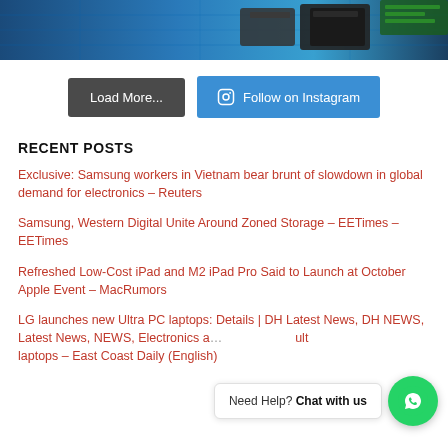[Figure (photo): Top portion of an electronics/hardware photo showing storage devices on a blue background]
Load More...
Follow on Instagram
RECENT POSTS
Exclusive: Samsung workers in Vietnam bear brunt of slowdown in global demand for electronics – Reuters
Samsung, Western Digital Unite Around Zoned Storage – EETimes – EETimes
Refreshed Low-Cost iPad and M2 iPad Pro Said to Launch at October Apple Event – MacRumors
LG launches new Ultra PC laptops: Details | DH Latest News, DH NEWS, Latest News, NEWS, Electronics and Gadgets News, laptops, laptop, LG Ultra PC 16U... ult laptops – East Coast Daily (English)
Need Help? Chat with us